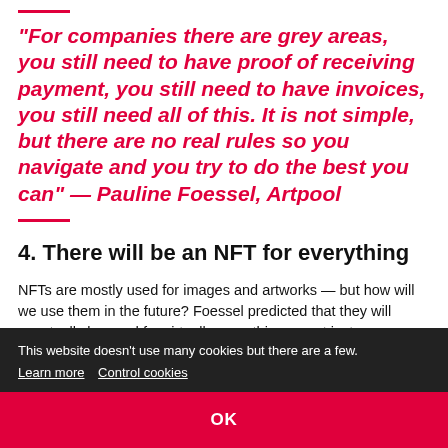“For companies there are grey areas, you still need to have proof of receiving payment, you still need to have invoices, you still need all of this. It is not simple, but there are no real rules so you navigate and you try to do the best you can” — Pauline Foessel, Artpool
4. There will be an NFT for everything
NFTs are mostly used for images and artworks — but how will we use them in the future? Foessel predicted [partially visible] ...ally ...just